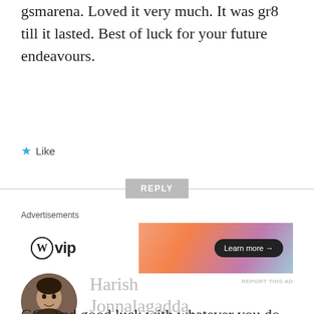gsmarena. Loved it very much. It was gr8 till it lasted. Best of luck for your future endeavours.
★ Like
REPLY
Advertisements
[Figure (screenshot): WordPress VIP advertisement banner with orange-to-purple gradient background and 'Learn more →' button]
REPORT THIS AD
Harish Jonnalagadda
JUNE 15, 2015 AT 2:22 PM
GG. And good luck with whatever you do